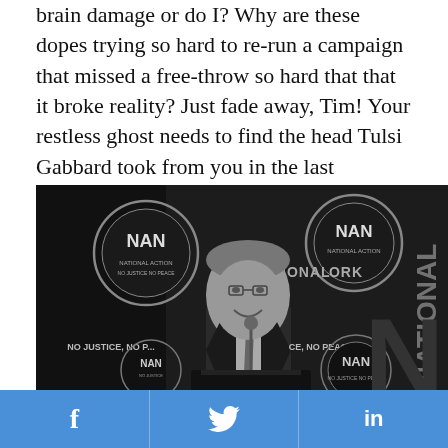brain damage or do I? Why are these dopes trying so hard to re-run a campaign that missed a free-throw so hard that that it broke reality? Just fade away, Tim! Your restless ghost needs to find the head Tulsi Gabbard took from you in the last Democratic debate so you can cross the threshold into the next world.
[Figure (photo): Black and white photo of a man in a suit speaking at a podium at a National Action Network (NAN) event. Backdrop shows NAN logos and text reading 'NO JUSTICE, NO PEACE'.]
f  [Twitter bird icon]  in